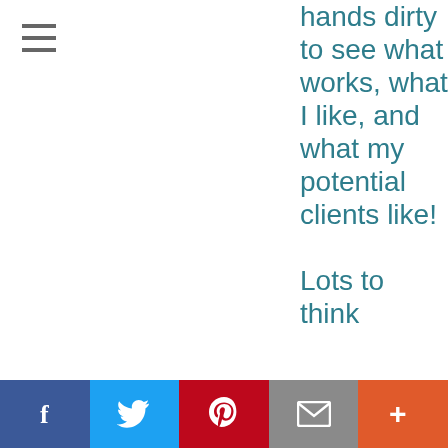[Figure (other): Hamburger menu icon (three horizontal lines)]
hands dirty to see what works, what I like, and what my potential clients like!

Lots to think
[Figure (other): Social sharing bar with Facebook, Twitter, Pinterest, Email, and More buttons]